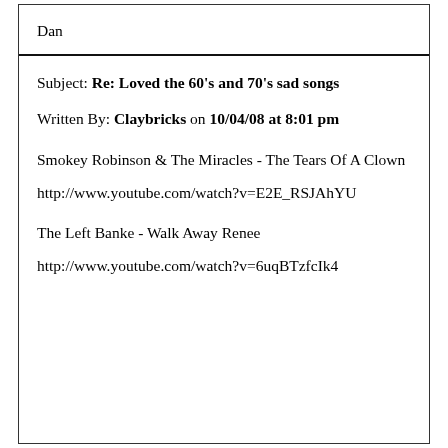Dan
Subject: Re: Loved the 60's and 70's sad songs
Written By: Claybricks on 10/04/08 at 8:01 pm
Smokey Robinson & The Miracles - The Tears Of A Clown
http://www.youtube.com/watch?v=E2E_RSJAhYU
The Left Banke - Walk Away Renee
http://www.youtube.com/watch?v=6uqBTzfcIk4